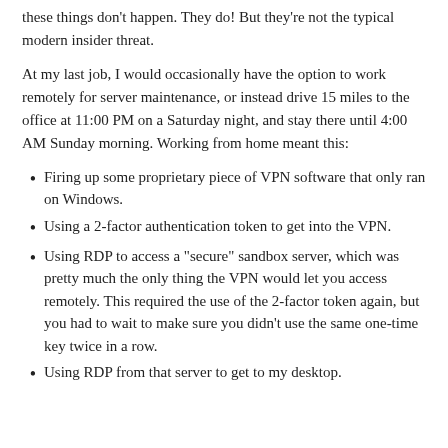these things don't happen. They do! But they're not the typical modern insider threat.
At my last job, I would occasionally have the option to work remotely for server maintenance, or instead drive 15 miles to the office at 11:00 PM on a Saturday night, and stay there until 4:00 AM Sunday morning. Working from home meant this:
Firing up some proprietary piece of VPN software that only ran on Windows.
Using a 2-factor authentication token to get into the VPN.
Using RDP to access a "secure" sandbox server, which was pretty much the only thing the VPN would let you access remotely. This required the use of the 2-factor token again, but you had to wait to make sure you didn't use the same one-time key twice in a row.
Using RDP from that server to get to my desktop.